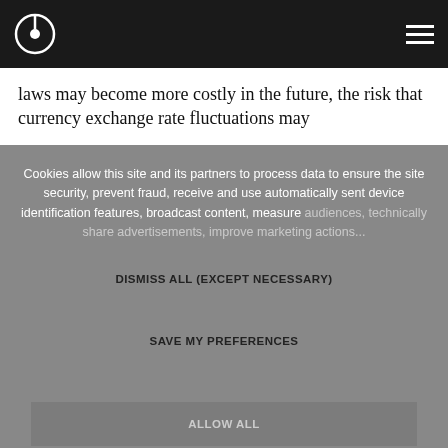[Logo] [Hamburger menu]
laws may become more costly in the future, the risk that currency exchange rate fluctuations may
Cookies allow this site and its partners to process data to ensure the site security, prevent fraud, receive and use automatically sent device identification features, broadcast content, measure audiences, technically share advertisements, improve marketing actions...
DISMISS ALL (EXCEPT NECESSARY)
SAVE MY PREFERENCES
ALLOW ALL